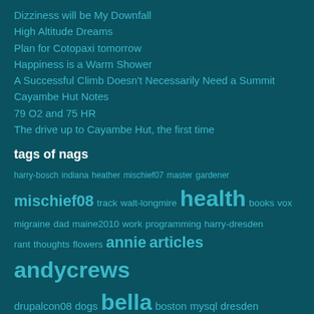Dizziness will be My Downfall
High Altitude Dreams
Plan for Cotopaxi tomorrow
Happiness is a Warm Shower
A Successful Climb Doesn't Necessarily Need a Summit
Cayambe Hut Notes
79 O2 and 75 HR
The drive up to Cayambe Hut, the first time
tags of nags
harry-bosch indiana heather mischief07 master gardener mischief08 track walt-longmire health books vox migraine dad maine2010 work programming harry-dresden rant thoughts flowers annie articles andycrews drupalcon08 dogs bella boston mysql dresden mirabelle kris megansmith hawaii bosch drupal